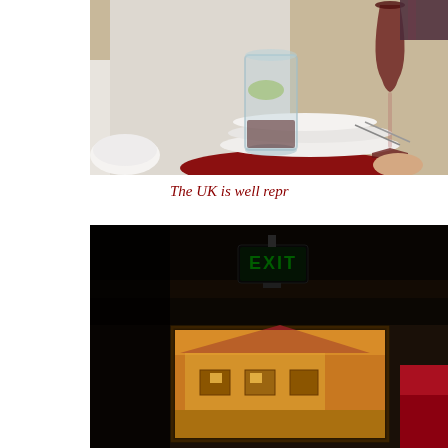[Figure (photo): Close-up photo of a dining table scene with a glass of water with lime, stacked white bowls and plates, cutlery, a red bowl, and a glass of red wine being held by a person in a white shirt. Another white bowl is visible on the left side.]
The UK is well repr
[Figure (photo): Dark interior photo showing a green EXIT sign mounted near the ceiling, with a window or opening showing an exterior view of a building with warm yellow/orange lighting at night, and a partial view of what appears to be a red object on the right side.]